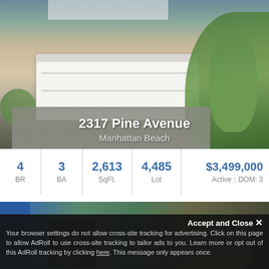[Figure (photo): Exterior photo of a two-story residential home at 2317 Pine Avenue, Manhattan Beach, showing white garage door, gray stucco facade, upper deck with white railing, and tropical landscaping]
2317 Pine Avenue
Manhattan Beach
| BR | BA | SqFt. | Lot | Price/Status |
| --- | --- | --- | --- | --- |
| 4 | 3 | 2,613 | 4,485 | $3,499,000 / Active | DOM: 3 |
[Figure (photo): Partial exterior photo of another property, mostly obscured by ad banner]
Accept and Close ✕
Your browser settings do not allow cross-site tracking for advertising. Click on this page to allow AdRoll to use cross-site tracking to tailor ads to you. Learn more or opt out of this AdRoll tracking by clicking here. This message only appears once.